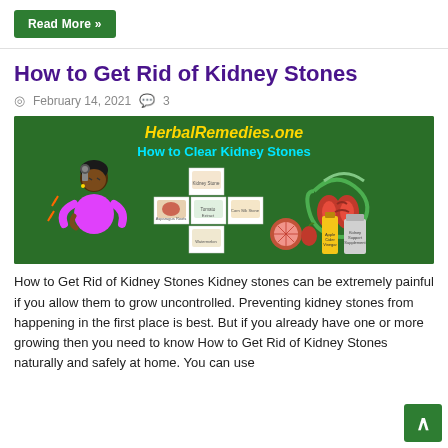Read More »
How to Get Rid of Kidney Stones
February 14, 2021  💬 3
[Figure (illustration): HerbalRemedies.one - How to Clear Kidney Stones infographic on green background showing a person in pain, a grid of herbal remedy images, kidney illustration, and various natural remedy items (grapefruit, apple cider vinegar, supplement bottle)]
How to Get Rid of Kidney Stones Kidney stones can be extremely painful if you allow them to grow uncontrolled. Preventing kidney stones from happening in the first place is best. But if you already have one or more growing then you need to know How to Get Rid of Kidney Stones naturally and safely at home. You can use